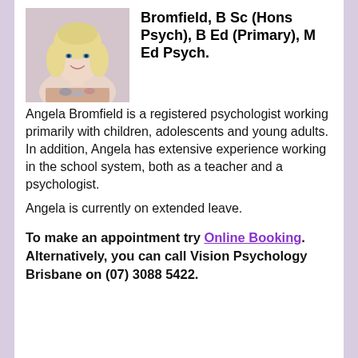[Figure (photo): Headshot photo of Angela Bromfield, a woman with blonde hair, smiling]
Bromfield, B Sc (Hons Psych), B Ed (Primary), M Ed Psych.
Angela Bromfield is a registered psychologist working primarily with children, adolescents and young adults. In addition, Angela has extensive experience working in the school system, both as a teacher and a psychologist.
Angela is currently on extended leave.
To make an appointment try Online Booking. Alternatively, you can call Vision Psychology Brisbane on (07) 3088 5422.